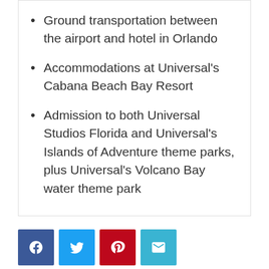Ground transportation between the airport and hotel in Orlando
Accommodations at Universal's Cabana Beach Bay Resort
Admission to both Universal Studios Florida and Universal's Islands of Adventure theme parks, plus Universal's Volcano Bay water theme park
[Figure (infographic): Social sharing buttons: Facebook (blue), Twitter (light blue), Pinterest (red), Email (teal)]
Related Articles
[Figure (infographic): Two red Giveaway banner labels side by side]